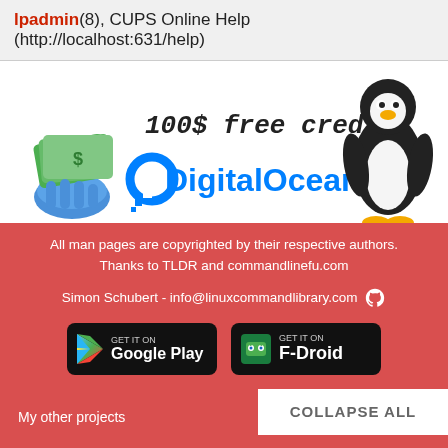lpadmin(8), CUPS Online Help (http://localhost:631/help)
[Figure (infographic): DigitalOcean advertisement banner showing 100$ free credit with a Linux Tux penguin and money hand illustration, DigitalOcean logo in blue]
All man pages are copyrighted by their respective authors. Thanks to TLDR and commandlinefu.com
Simon Schubert - info@linuxcommandlibrary.com
[Figure (infographic): Get it on Google Play button (black rounded rectangle)]
[Figure (infographic): Get it on F-Droid button (black rounded rectangle)]
My other projects
COLLAPSE ALL